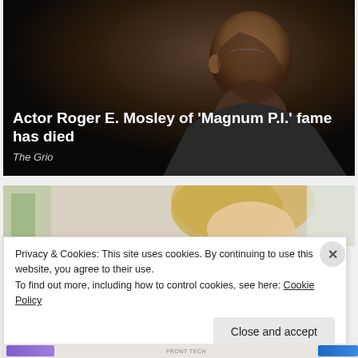[Figure (photo): Dark moody portrait photo of a man in profile wearing glasses and a dark suit jacket, against a black background. White text overlays read 'Actor Roger E. Mosley of ‘Magnum P.I.’ fame has died' and 'The Grio' in italic.]
Actor Roger E. Mosley of ‘Magnum P.I.’ fame has died
The Grio
[Figure (photo): Partial photo of a blonde woman looking downward, with a light blurred background including green elements.]
Privacy & Cookies: This site uses cookies. By continuing to use this website, you agree to their use.
To find out more, including how to control cookies, see here: Cookie Policy
Close and accept